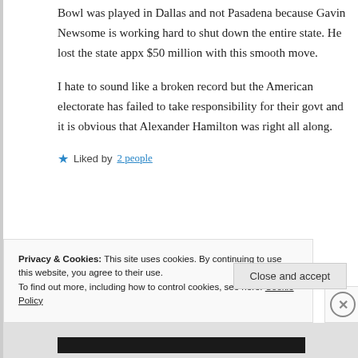Bowl was played in Dallas and not Pasadena because Gavin Newsome is working hard to shut down the entire state. He lost the state appx $50 million with this smooth move.
I hate to sound like a broken record but the American electorate has failed to take responsibility for their govt and it is obvious that Alexander Hamilton was right all along.
★ Liked by 2 people
Privacy & Cookies: This site uses cookies. By continuing to use this website, you agree to their use. To find out more, including how to control cookies, see here: Cookie Policy
Close and accept